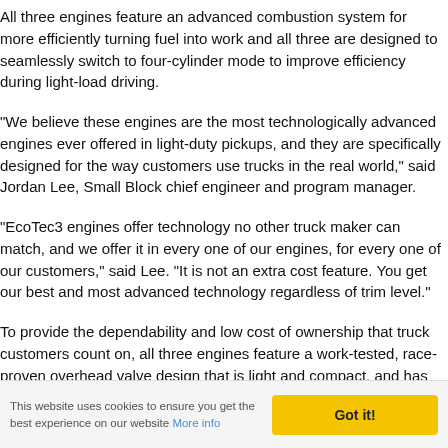All three engines feature an advanced combustion system for more efficiently turning fuel into work and all three are designed to seamlessly switch to four-cylinder mode to improve efficiency during light-load driving.
"We believe these engines are the most technologically advanced engines ever offered in light-duty pickups, and they are specifically designed for the way customers use trucks in the real world," said Jordan Lee, Small Block chief engineer and program manager.
"EcoTec3 engines offer technology no other truck maker can match, and we offer it in every one of our engines, for every one of our customers," said Lee. "It is not an extra cost feature. You get our best and most advanced technology regardless of trim level."
To provide the dependability and low cost of ownership that truck customers count on, all three engines feature a work-tested, race-proven overhead valve design that is light and compact, and has
This website uses cookies to ensure you get the best experience on our website More info  Got it!